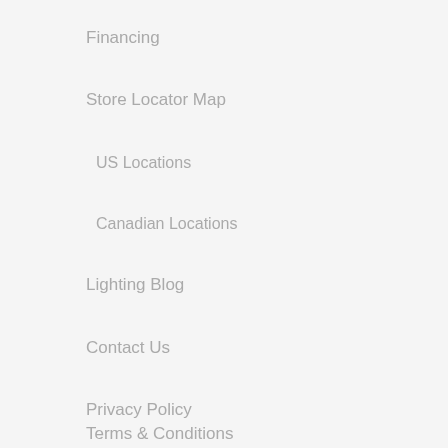Financing
Store Locator Map
US Locations
Canadian Locations
Lighting Blog
Contact Us
Privacy Policy
Terms & Conditions
Warranty